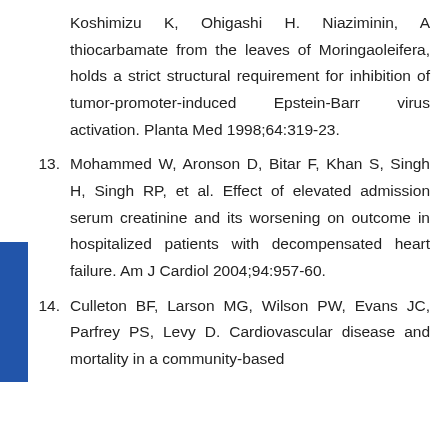Koshimizu K, Ohigashi H. Niaziminin, A thiocarbamate from the leaves of Moringaoleifera, holds a strict structural requirement for inhibition of tumor-promoter-induced Epstein-Barr virus activation. Planta Med 1998;64:319-23.
13. Mohammed W, Aronson D, Bitar F, Khan S, Singh H, Singh RP, et al. Effect of elevated admission serum creatinine and its worsening on outcome in hospitalized patients with decompensated heart failure. Am J Cardiol 2004;94:957-60.
14. Culleton BF, Larson MG, Wilson PW, Evans JC, Parfrey PS, Levy D. Cardiovascular disease and mortality in a community-based